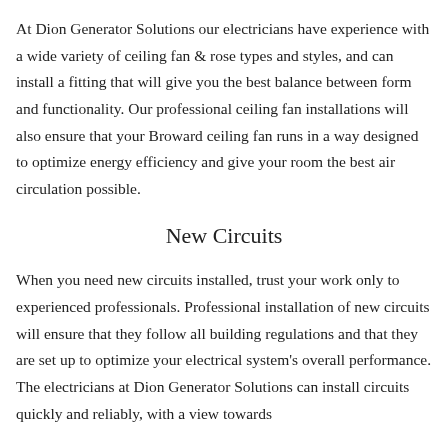At Dion Generator Solutions our electricians have experience with a wide variety of ceiling fan & rose types and styles, and can install a fitting that will give you the best balance between form and functionality. Our professional ceiling fan installations will also ensure that your Broward ceiling fan runs in a way designed to optimize energy efficiency and give your room the best air circulation possible.
New Circuits
When you need new circuits installed, trust your work only to experienced professionals. Professional installation of new circuits will ensure that they follow all building regulations and that they are set up to optimize your electrical system's overall performance. The electricians at Dion Generator Solutions can install circuits quickly and reliably, with a view towards